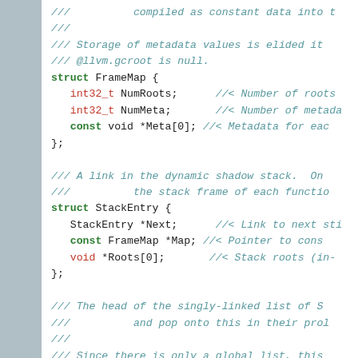[Figure (screenshot): Source code snippet showing C++ structs FrameMap and StackEntry with Doxygen comments and a global variable declaration, displayed with syntax highlighting on a white background with a grey sidebar.]